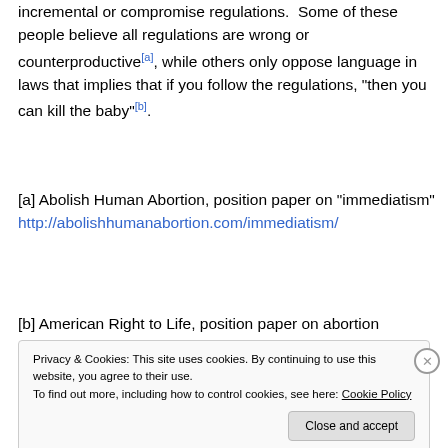incremental or compromise regulations. Some of these people believe all regulations are wrong or counterproductive[a], while others only oppose language in laws that implies that if you follow the regulations, "then you can kill the baby"[b].
[a] Abolish Human Abortion, position paper on "immediatism" http://abolishhumanabortion.com/immediatism/
[b] American Right to Life, position paper on abortion
Privacy & Cookies: This site uses cookies. By continuing to use this website, you agree to their use. To find out more, including how to control cookies, see here: Cookie Policy